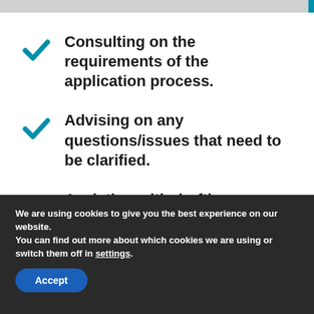Consulting on the requirements of the application process.
Advising on any questions/issues that need to be clarified.
Assisting with drafting relevant documents.
We are using cookies to give you the best experience on our website.
You can find out more about which cookies we are using or switch them off in settings.
Accept